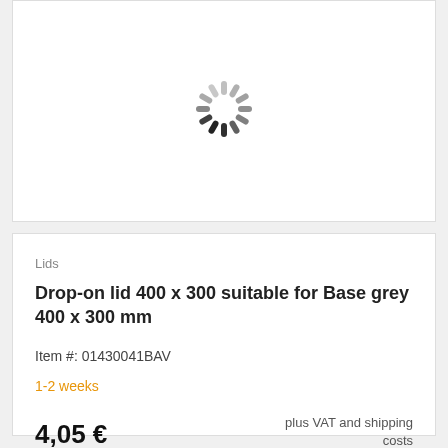[Figure (other): Loading spinner animation (circular spinner icon with grey and dark grey dashes)]
Lids
Drop-on lid 400 x 300 suitable for Base grey 400 x 300 mm
Item #: 01430041BAV
1-2 weeks
4,05 €
plus VAT and shipping costs